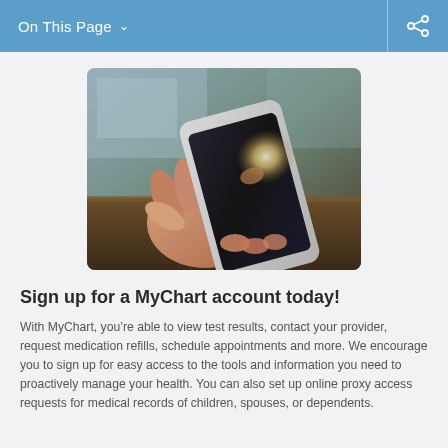On This Page
[Figure (photo): A hand holding a white smartphone with a bright glowing screen, resting on a wooden surface.]
Sign up for a MyChart account today!
With MyChart, you’re able to view test results, contact your provider, request medication refills, schedule appointments and more. We encourage you to sign up for easy access to the tools and information you need to proactively manage your health. You can also set up online proxy access requests for medical records of children, spouses, or dependents.